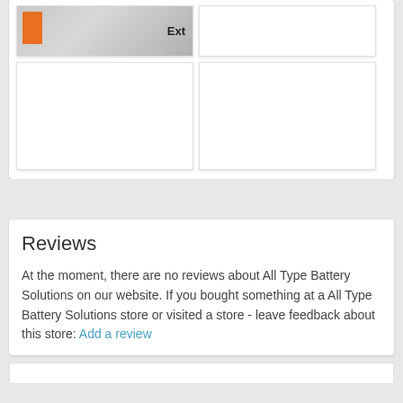[Figure (photo): Photo of a battery product box with orange packaging and 'Ext' text visible, on a grid background]
[Figure (photo): Blank white image placeholder (top right)]
[Figure (photo): Blank white image placeholder (bottom left)]
[Figure (photo): Blank white image placeholder (bottom right)]
Reviews
At the moment, there are no reviews about All Type Battery Solutions on our website. If you bought something at a All Type Battery Solutions store or visited a store - leave feedback about this store: Add a review